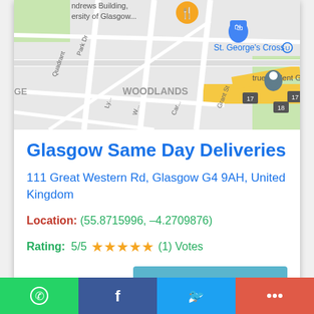[Figure (map): Google Maps screenshot showing Woodlands area of Glasgow near St. George's Cross, with markers for Powerhouse Fitness and true student Glasgow]
Glasgow Same Day Deliveries
111 Great Western Rd, Glasgow G4 9AH, United Kingdom
Location: (55.8715996, -4.2709876)
Rating: 5/5 ★★★★★ (1) Votes
CONTACT DETAILS
WhatsApp | Facebook | Twitter | More